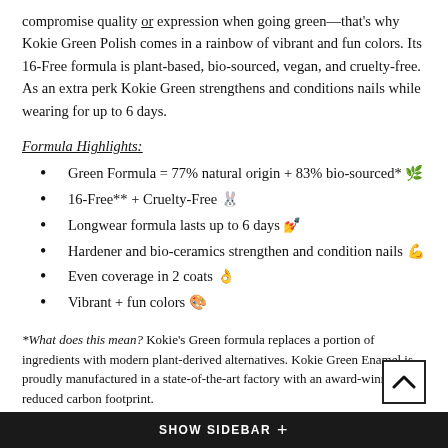compromise quality or expression when going green—that's why Kokie Green Polish comes in a rainbow of vibrant and fun colors. Its 16-Free formula is plant-based, bio-sourced, vegan, and cruelty-free. As an extra perk Kokie Green strengthens and conditions nails while wearing for up to 6 days.
Formula Highlights:
Green Formula = 77% natural origin + 83% bio-sourced* 🌿
16-Free** + Cruelty-Free 🐰
Longwear formula lasts up to 6 days 💅
Hardener and bio-ceramics strengthen and condition nails 💪
Even coverage in 2 coats 👌
Vibrant + fun colors 🎨
*What does this mean? Kokie's Green formula replaces a portion of ingredients with modern plant-derived alternatives. Kokie Green Enamel is proudly manufactured in a state-of-the-art factory with an award-winning reduced carbon footprint.
SHOW SIDEBAR +